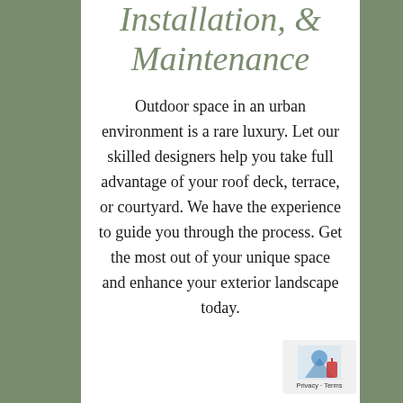Installation, & Maintenance
Outdoor space in an urban environment is a rare luxury. Let our skilled designers help you take full advantage of your roof deck, terrace, or courtyard. We have the experience to guide you through the process. Get the most out of your unique space and enhance your exterior landscape today.